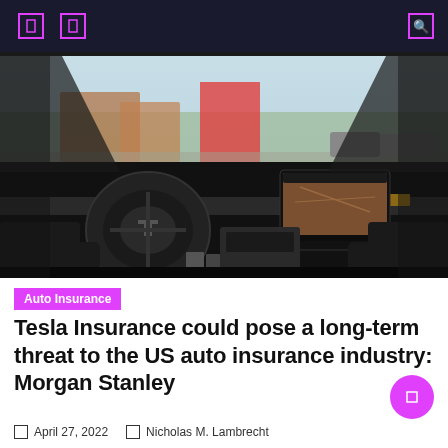[Figure (photo): Interior view of a Tesla vehicle from driver's perspective, showing the steering wheel with Tesla logo, large central touchscreen displaying a map, minimalist dashboard, black leather seats, and a parking lot with buildings and trees visible through the windshield.]
Auto Insurance
Tesla Insurance could pose a long-term threat to the US auto insurance industry: Morgan Stanley
April 27, 2022   Nicholas M. Lambrecht